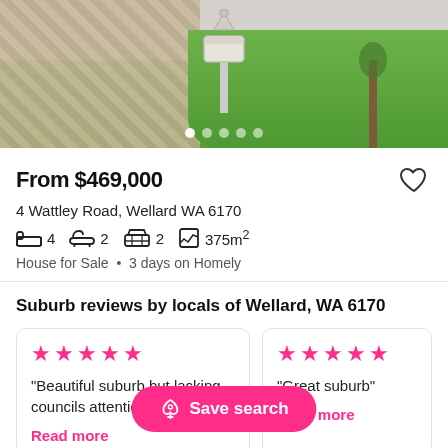[Figure (photo): Exterior photo of a house showing driveway with brick pavers, green lawn, mailbox/post area, and garage. Navigation dots are shown at the bottom of the image.]
From $469,000
4 Wattley Road, Wellard WA 6170
4 bedrooms  2 bathrooms  2 garage  375m²
House for Sale • 3 days on Homely
Suburb reviews by locals of Wellard, WA 6170
★★★★★
"Beautiful suburb but lacking councils attention"
Read more
★★★★★
"Great suburb"
Read more
Save search